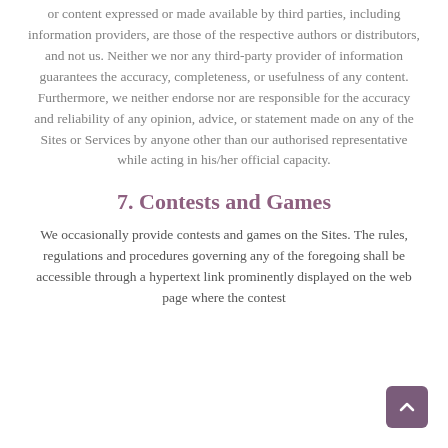or content expressed or made available by third parties, including information providers, are those of the respective authors or distributors, and not us. Neither we nor any third-party provider of information guarantees the accuracy, completeness, or usefulness of any content. Furthermore, we neither endorse nor are responsible for the accuracy and reliability of any opinion, advice, or statement made on any of the Sites or Services by anyone other than our authorised representative while acting in his/her official capacity.
7. Contests and Games
We occasionally provide contests and games on the Sites. The rules, regulations and procedures governing any of the foregoing shall be accessible through a hypertext link prominently displayed on the web page where the contest